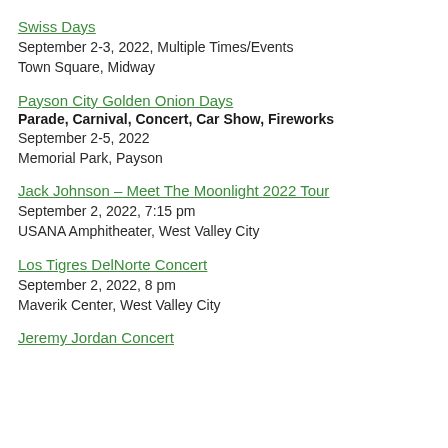Swiss Days
September 2-3, 2022, Multiple Times/Events
Town Square, Midway
Payson City Golden Onion Days
Parade, Carnival, Concert, Car Show, Fireworks
September 2-5, 2022
Memorial Park, Payson
Jack Johnson – Meet The Moonlight 2022 Tour
September 2, 2022, 7:15 pm
USANA Amphitheater, West Valley City
Los Tigres DelNorte Concert
September 2, 2022, 8 pm
Maverik Center, West Valley City
Jeremy Jordan Concert